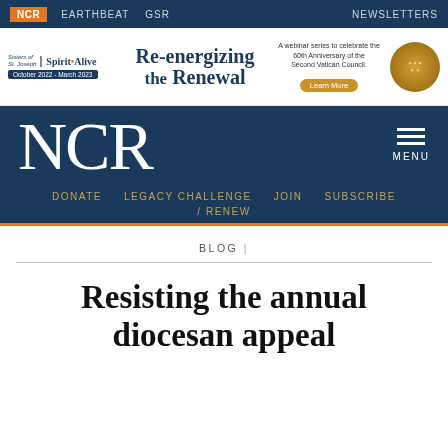NCR  EARTHBEAT  GSR  NEWSLETTERS
[Figure (infographic): Advertisement banner for Spirit Alive 'Re-energizing the Renewal' webinar series, celebrating the 60th Anniversary of the Second Vatican Council. October 2022 - March 2023. Learn More button.]
NCR  MENU
DONATE  LEGACY CHALLENGE  JOIN  SUBSCRIBE / RENEW
BLOG |
Resisting the annual diocesan appeal